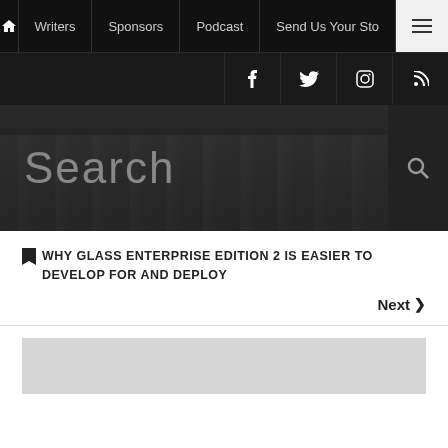Home | Writers | Sponsors | Podcast | Send Us Your Story | Menu
Social icons: Facebook, Twitter, Instagram, RSS
Search
WHY GLASS ENTERPRISE EDITION 2 IS EASIER TO DEVELOP FOR AND DEPLOY
Next >